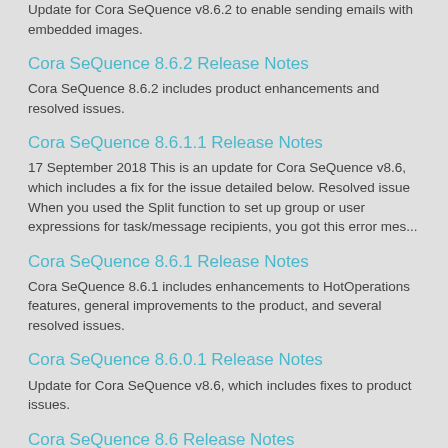Update for Cora SeQuence v8.6.2 to enable sending emails with embedded images.
Cora SeQuence 8.6.2 Release Notes
Cora SeQuence 8.6.2 includes product enhancements and resolved issues.
Cora SeQuence 8.6.1.1 Release Notes
17 September 2018 This is an update for Cora SeQuence v8.6, which includes a fix for the issue detailed below. Resolved issue When you used the Split function to set up group or user expressions for task/message recipients, you got this error mes...
Cora SeQuence 8.6.1 Release Notes
Cora SeQuence 8.6.1 includes enhancements to HotOperations features, general improvements to the product, and several resolved issues.
Cora SeQuence 8.6.0.1 Release Notes
Update for Cora SeQuence v8.6, which includes fixes to product issues.
Cora SeQuence 8.6 Release Notes
Cora SeQuence 8.6 introduces additional cloud-based cognitive interfaces, better support for OAuth authentication, a new